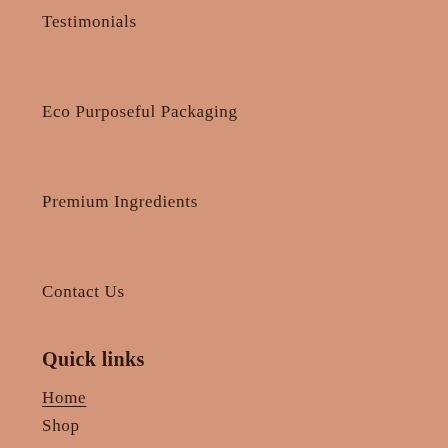Testimonials
Eco Purposeful Packaging
Premium Ingredients
Contact Us
Quick links
Home
Shop
My Account
Cart
Checkout